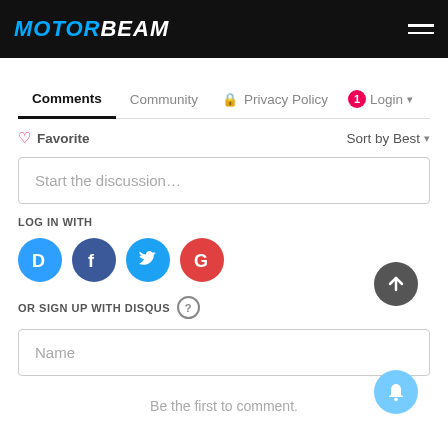MOTORBEAM
Comments | Community | Privacy Policy | Login
Favorite | Sort by Best
Start the discussion…
LOG IN WITH
[Figure (infographic): Social login icons: Disqus (D), Facebook (f), Twitter bird, Google (G)]
OR SIGN UP WITH DISQUS ?
Name
Be the first to comment.